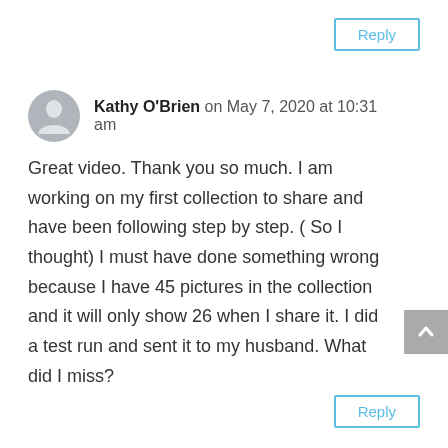Reply
Kathy O'Brien on May 7, 2020 at 10:31 am
Great video. Thank you so much. I am working on my first collection to share and have been following step by step. ( So I thought) I must have done something wrong because I have 45 pictures in the collection and it will only show 26 when I share it. I did a test run and sent it to my husband. What did I miss?
Reply